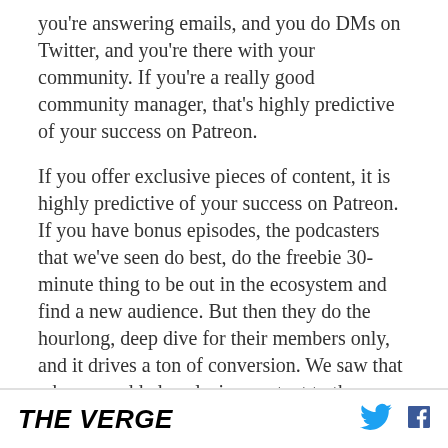you're answering emails, and you do DMs on Twitter, and you're there with your community. If you're a really good community manager, that's highly predictive of your success on Patreon.
If you offer exclusive pieces of content, it is highly predictive of your success on Patreon. If you have bonus episodes, the podcasters that we've seen do best, do the freebie 30-minute thing to be out in the ecosystem and find a new audience. But then they do the hourlong, deep dive for their members only, and it drives a ton of conversion. We saw that when we added exclusive content to the creator page a couple of years ago — it literally doubled
THE VERGE